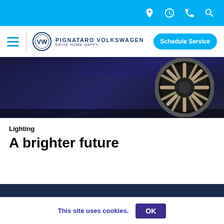Top navigation bar with icons: location, clock, phone, search
[Figure (logo): Pignataro Volkswagen logo with VW circle emblem and text 'PIGNATARO VOLKSWAGEN DRIVE HOME HAPPY']
Schedule Service
[Figure (photo): Close-up low-angle shot of a dark blue Volkswagen vehicle showing the wheel and lower body against a dark background]
Lighting
A brighter future
This site uses cookies.
OK